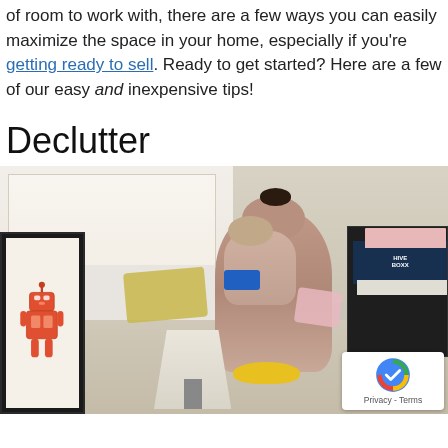of room to work with, there are a few ways you can easily maximize the space in your home, especially if you're getting ready to sell. Ready to get started? Here are a few of our easy and inexpensive tips!
Declutter
[Figure (photo): A woman hugging a young child amidst a cluttered room with boxes, pillows, a lamp, and various items being sorted, including a HIVE BOXX storage box on the right and a robot-themed framed picture on the left.]